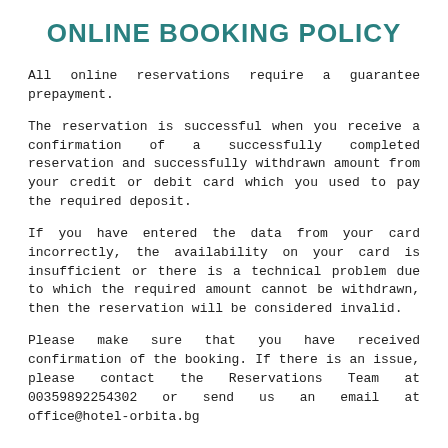ONLINE BOOKING POLICY
All online reservations require a guarantee prepayment.
The reservation is successful when you receive a confirmation of a successfully completed reservation and successfully withdrawn amount from your credit or debit card which you used to pay the required deposit.
If you have entered the data from your card incorrectly, the availability on your card is insufficient or there is a technical problem due to which the required amount cannot be withdrawn, then the reservation will be considered invalid.
Please make sure that you have received confirmation of the booking. If there is an issue, please contact the Reservations Team at 00359892254302 or send us an email at office@hotel-orbita.bg